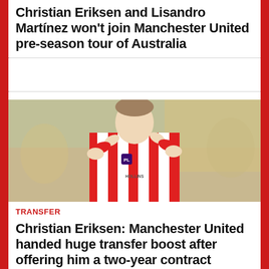Christian Eriksen and Lisandro Martínez won't join Manchester United pre-season tour of Australia
[Figure (photo): Christian Eriksen in red and white striped football kit, applauding]
TRANSFER
Christian Eriksen: Manchester United handed huge transfer boost after offering him a two-year contract
[Figure (photo): Christian Eriksen in red and white striped football kit, applauding]